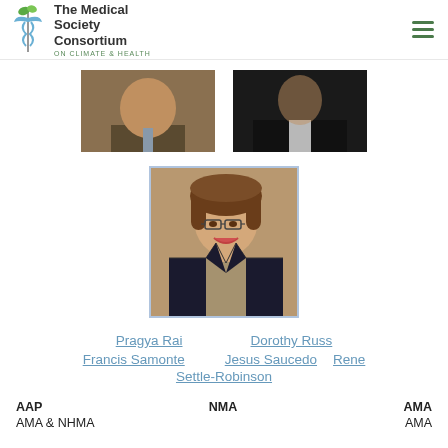[Figure (logo): The Medical Society Consortium on Climate & Health logo with caduceus symbol]
[Figure (photo): Partial photo of a person in brown jacket and tie on left; partial photo of a person in dark jacket on right — top row cropped photos]
[Figure (photo): Headshot photo of a woman with short brown hair and glasses wearing a dark blazer, smiling]
Pragya Rai   Dorothy Russ
Francis Samonte   Jesus Saucedo   Rene Settle-Robinson
AAP   NMA   AMA
AMA & NHMA   AMA